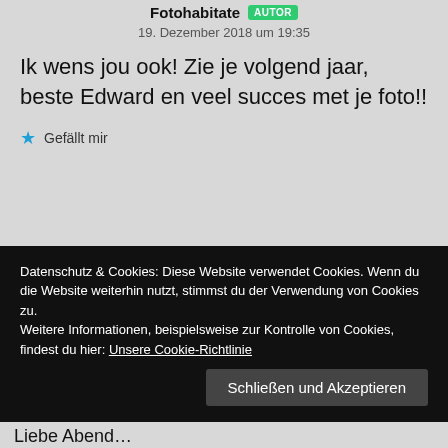Fotohabitate AUTOR
19. Dezember 2018 um 19:35
Ik wens jou ook! Zie je volgend jaar, beste Edward en veel succes met je foto!!
★ Gefällt mir
[Figure (photo): Partial avatar/profile photo of an animal (koala-like) visible at the top of the next comment section]
Datenschutz & Cookies: Diese Website verwendet Cookies. Wenn du die Website weiterhin nutzt, stimmst du der Verwendung von Cookies zu. Weitere Informationen, beispielsweise zur Kontrolle von Cookies, findest du hier: Unsere Cookie-Richtlinie
Schließen und Akzeptieren
Liebe Abend…